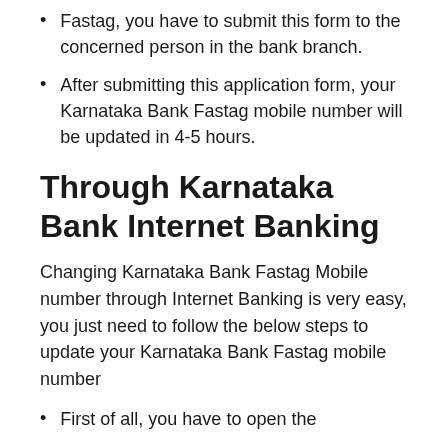Fastag, you have to submit this form to the concerned person in the bank branch.
After submitting this application form, your Karnataka Bank Fastag mobile number will be updated in 4-5 hours.
Through Karnataka Bank Internet Banking
Changing Karnataka Bank Fastag Mobile number through Internet Banking is very easy, you just need to follow the below steps to update your Karnataka Bank Fastag mobile number
First of all, you have to open the